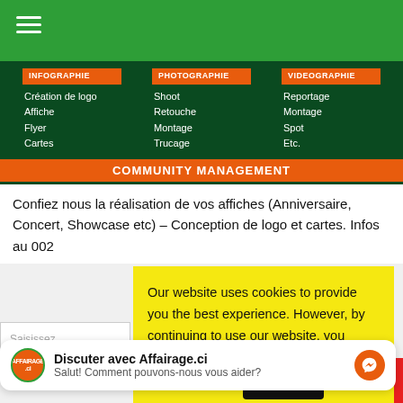[Figure (screenshot): Green top navigation bar with hamburger menu icon]
[Figure (screenshot): Dark green menu section with three columns: INFOGRAPHIE (Création de logo, Affiche, Flyer, Cartes), PHOTOGRAPHIE (Shoot, Retouche, Montage, Trucage), VIDEOGRAPHIE (Reportage, Montage, Spot, Etc.) and a COMMUNITY MANAGEMENT orange bar]
Confiez nous la réalisation de vos affiches (Anniversaire, Concert, Showcase etc) – Conception de logo et cartes. Infos au 002
Saisissez
Our website uses cookies to provide you the best experience. However, by continuing to use our website, you agree to our use of cookies. For more information, read our Cookie Policy.
Discuter avec Affairage.ci
Salut! Comment pouvons-nous vous aider?